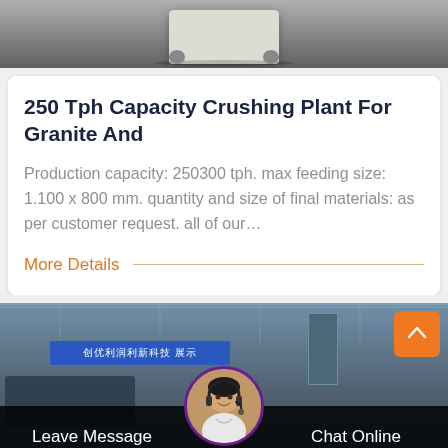[Figure (photo): Partial view of industrial crushing equipment on a floor, top portion visible]
250 Tph Capacity Crushing Plant For Granite And
Production capacity: 250300 tph. max feeding size: 1.100 x 800 mm. quantity and size of final materials: as per customer request. all of our…
More Details
[Figure (photo): Interior of a large industrial manufacturing facility/factory with overhead structure, banner with Chinese text, and heavy machinery visible. Orange scroll-to-top button in top right. Bottom overlay bar with Leave Message and Chat Online buttons and a customer service avatar.]